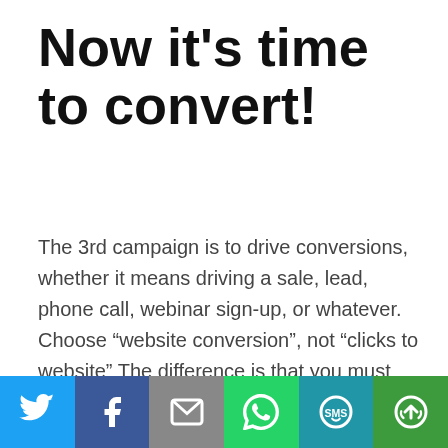Now it’s time to convert!
The 3rd campaign is to drive conversions, whether it means driving a sale, lead, phone call, webinar sign-up, or whatever. Choose “website conversion”, not “clicks to website” The difference is that you must install the tracking pixel– not as huge of a deal as you might think, even if you’re not an engineer. You can set up multiple conversion pixels for multiple events and stages in your funnel. More here, if you want to really dig into optimizing and the conversion
[Figure (infographic): Social sharing bar with six buttons: Twitter (blue bird icon), Facebook (blue f icon), Email (grey envelope icon), WhatsApp (green phone icon), SMS (teal SMS icon), More (green circular arrows icon)]